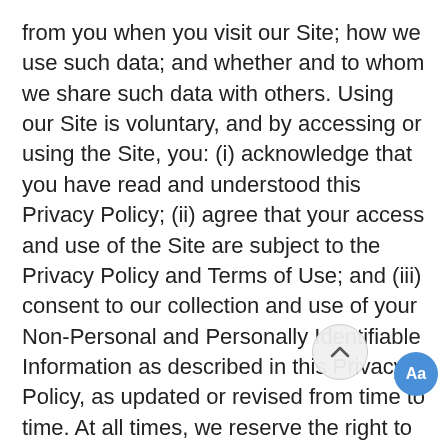from you when you visit our Site; how we use such data; and whether and to whom we share such data with others. Using our Site is voluntary, and by accessing or using the Site, you: (i) acknowledge that you have read and understood this Privacy Policy; (ii) agree that your access and use of the Site are subject to the Privacy Policy and Terms of Use; and (iii) consent to our collection and use of your Non-Personal and Personally Identifiable Information as described in this Privacy Policy, as updated or revised from time to time. At all times, we reserve the right to disclose any information, including personally identifiable information, to comply with any applicable law, regulation, legal process or governmental request; to protect the